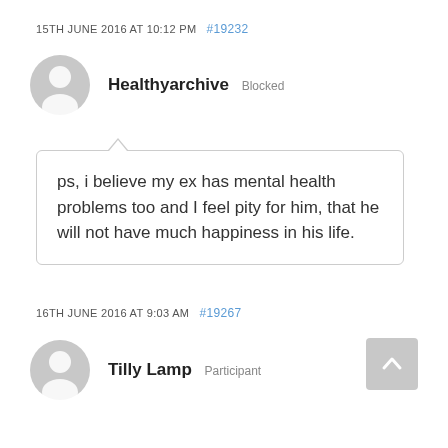15TH JUNE 2016 AT 10:12 PM  #19232
[Figure (illustration): Generic user avatar icon for Healthyarchive]
Healthyarchive  Blocked
ps, i believe my ex has mental health problems too and I feel pity for him, that he will not have much happiness in his life.
16TH JUNE 2016 AT 9:03 AM  #19267
[Figure (illustration): Generic user avatar icon for Tilly Lamp]
Tilly Lamp  Participant